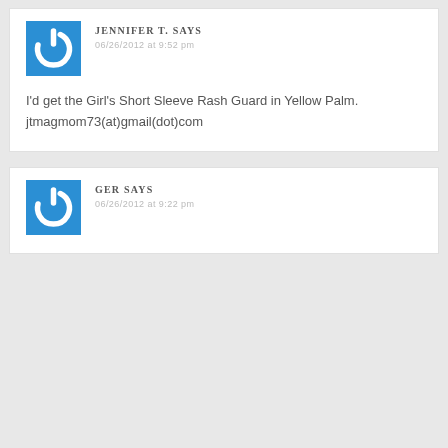JENNIFER T. SAYS
06/26/2012 at 9:52 pm
I'd get the Girl's Short Sleeve Rash Guard in Yellow Palm.
jtmagmom73(at)gmail(dot)com
GER SAYS
06/26/2012 at 9:22 pm